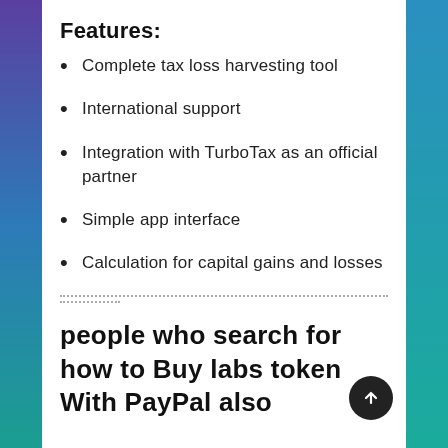Features:
Complete tax loss harvesting tool
International support
Integration with TurboTax as an official partner
Simple app interface
Calculation for capital gains and losses
people who search for how to Buy labs token With PayPal also